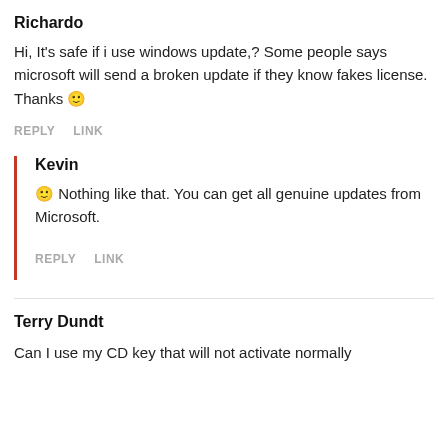Richardo
Hi, It's safe if i use windows update,? Some people says microsoft will send a broken update if they know fakes license. Thanks 🙂
REPLY   LINK
Kevin
🙂 Nothing like that. You can get all genuine updates from Microsoft.
REPLY   LINK
Terry Dundt
Can I use my CD key that will not activate normally with a restart?